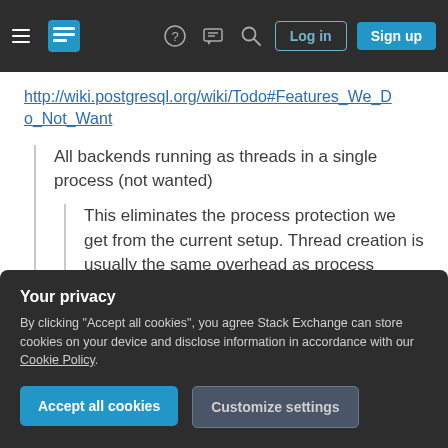Stack Exchange navigation bar with hamburger menu, logo, help, chat, search icons, Log in and Sign up buttons
http://wiki.postgresql.org/wiki/Todo#Features_We_Do_Not_Want
All backends running as threads in a single process (not wanted)
This eliminates the process protection we get from the current setup. Thread creation is usually the same overhead as process creation
Your privacy
By clicking "Accept all cookies", you agree Stack Exchange can store cookies on your device and disclose information in accordance with our Cookie Policy.
Accept all cookies
Customize settings